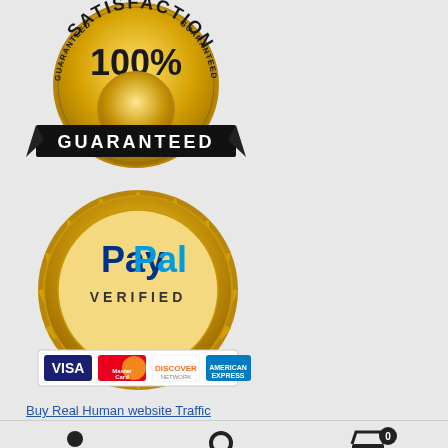[Figure (illustration): Gold satisfaction guaranteed badge with '100% GUARANTEED' text and ribbon]
[Figure (illustration): PayPal Verified gold seal badge with Visa, MasterCard, Discover, American Express credit card logos below]
Buy Real Human website Traffic
[Figure (illustration): Bottom navigation bar with user/account icon, search icon, and shopping cart icon with badge showing 0]